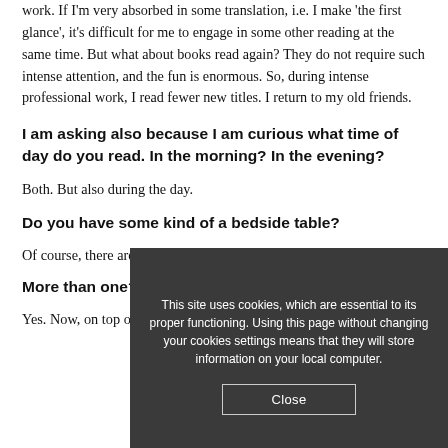work. If I'm very absorbed in some translation, i.e. I make 'the first glance', it's difficult for me to engage in some other reading at the same time. But what about books read again? They do not require such intense attention, and the fun is enormous. So, during intense professional work, I read fewer new titles. I return to my old friends.
I am asking also because I am curious what time of day do you read. In the morning? In the evening?
Both. But also during the day.
Do you have some kind of a bedside table?
Of course, there are very different books there.
More than one?
Yes. Now, on top of it, there is Flannery O'Connor's
This site uses cookies, which are essential to its proper functioning. Using this page without changing your cookies settings means that they will store information on your local computer.